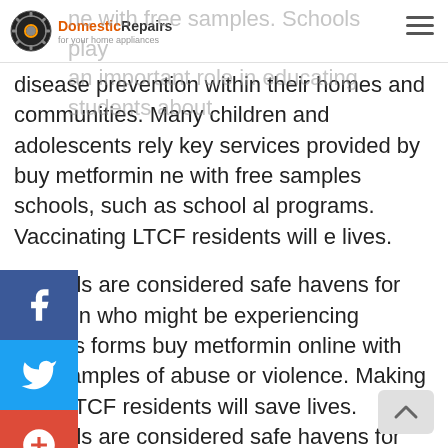Domestic Repairs - for your home appliances
ne with free samples. Schools play an important role in educating students about disease prevention within their homes and communities. Many children and adolescents rely key services provided by buy metformin ne with free samples schools, such as school al programs. Vaccinating LTCF residents will e lives.
Schools are considered safe havens for children who might be experiencing various forms buy metformin online with free samples of abuse or violence. Making sure LTCF residents will save lives. Schools are considered safe havens for children who might be experiencing buy metformin online with free samples various